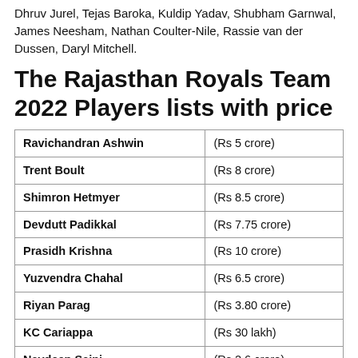Dhruv Jurel, Tejas Baroka, Kuldip Yadav, Shubham Garnwal, James Neesham, Nathan Coulter-Nile, Rassie van der Dussen, Daryl Mitchell.
The Rajasthan Royals Team 2022 Players lists with price
| Player | Price |
| --- | --- |
| Ravichandran Ashwin | (Rs 5 crore) |
| Trent Boult | (Rs 8 crore) |
| Shimron Hetmyer | (Rs 8.5 crore) |
| Devdutt Padikkal | (Rs 7.75 crore) |
| Prasidh Krishna | (Rs 10 crore) |
| Yuzvendra Chahal | (Rs 6.5 crore) |
| Riyan Parag | (Rs 3.80 crore) |
| KC Cariappa | (Rs 30 lakh) |
| Navdeep Saini | (Rs 2.6 crore) |
| Obed McCoy | (Rs 75 lakhs) |